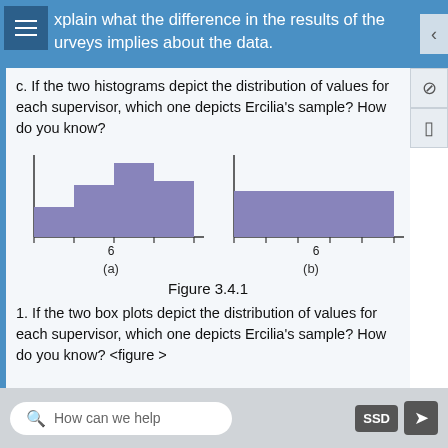xplain what the difference in the results of the surveys implies about the data.
c. If the two histograms depict the distribution of values for each supervisor, which one depicts Ercilia's sample? How do you know?
[Figure (histogram): Histogram (a): bars of increasing then decreasing height centered around 6]
[Figure (histogram): Histogram (b): approximately uniform bars of equal height centered around 6]
Figure 3.4.1
1. If the two box plots depict the distribution of values for each supervisor, which one depicts Ercilia’s sample? How do you know? <figure >
How can we help